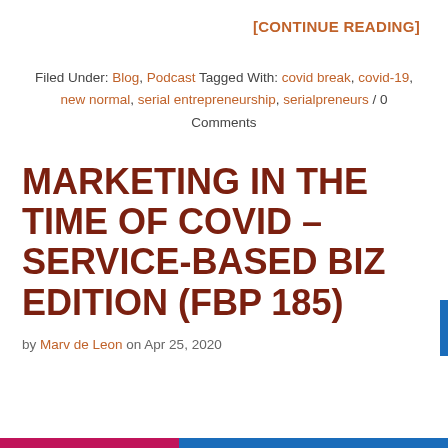[CONTINUE READING]
Filed Under: Blog, Podcast Tagged With: covid break, covid-19, new normal, serial entrepreneurship, serialpreneurs / 0 Comments
MARKETING IN THE TIME OF COVID – SERVICE-BASED BIZ EDITION (FBP 185)
by Marv de Leon on Apr 25, 2020